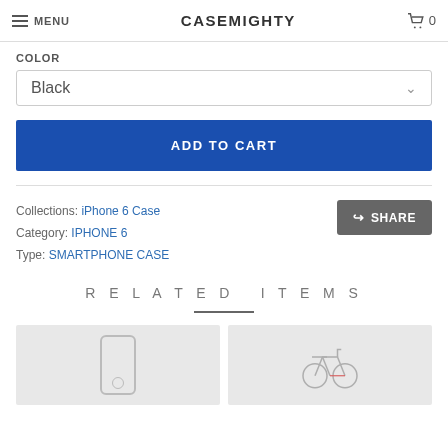MENU  CASEMIGHTY  0
COLOR
Black
ADD TO CART
Collections: iPhone 6 Case
Category: IPHONE 6
Type: SMARTPHONE CASE
SHARE
RELATED ITEMS